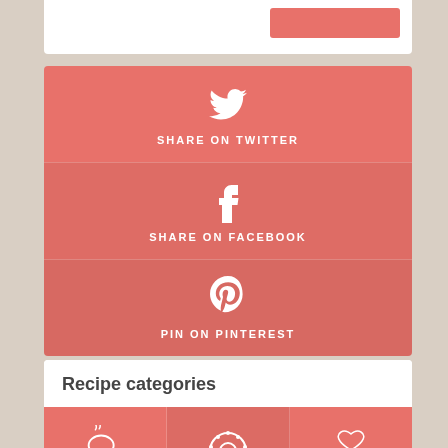[Figure (infographic): Share on Twitter button with Twitter bird icon on coral/salmon background]
[Figure (infographic): Share on Facebook button with Facebook f icon on darker coral background]
[Figure (infographic): Pin on Pinterest button with Pinterest P icon on darkest coral background]
Recipe categories
[Figure (infographic): Recipe categories icons: Chicken (drumstick icon), Desserts (donut icon), Drinks (cocktail glasses icon) on coral background]